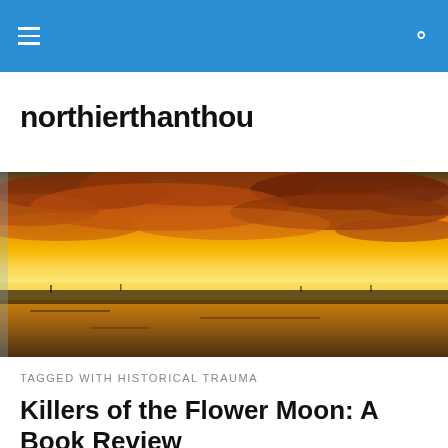northierthanthou — navigation bar
northierthanthou
[Figure (photo): Wide landscape photo of a sunset over flat water with dramatic orange and yellow clouds filling the sky]
TAGGED WITH HISTORICAL TRAUMA
Killers of the Flower Moon: A Book Review
[Figure (photo): Partial view of a dark book cover at bottom of page]